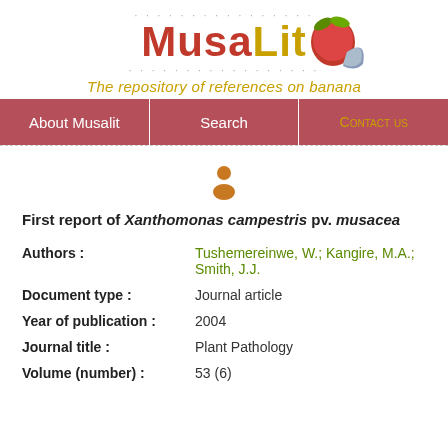[Figure (logo): MusaLit logo with banana/fruit illustration and dots decoration above and below the text]
The repository of references on banana
About Musalit | Search | Contact us
[Figure (illustration): Person/user icon in orange/brown color]
First report of Xanthomonas campestris pv. musacea
| Field | Value |
| --- | --- |
| Authors : | Tushemereinwe, W.; Kangire, M.A.; Smith, J.J. |
| Document type : | Journal article |
| Year of publication : | 2004 |
| Journal title : | Plant Pathology |
| Volume (number) : | 53 (6) |